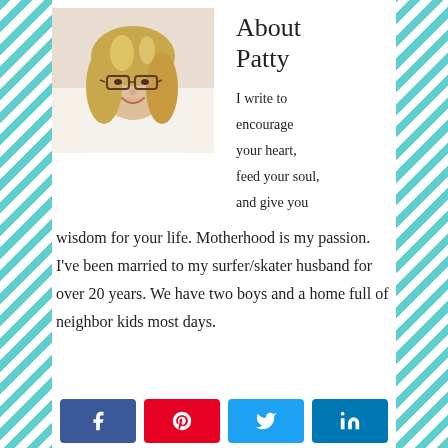[Figure (photo): Portrait photo of Patty, a woman with blonde hair and glasses, smiling]
About Patty
I write to encourage your heart, feed your soul, and give you wisdom for your life. Motherhood is my passion. I've been married to my surfer/skater husband for over 20 years. We have two boys and a home full of neighbor kids most days.
[Figure (infographic): Social share buttons: Facebook, Pinterest, Twitter, LinkedIn]